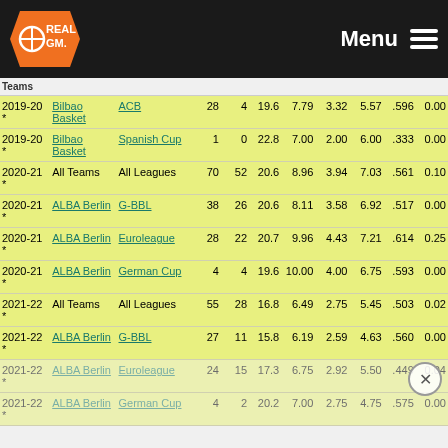RealGM — Menu
| Season | Team | League | G | GS | MPG | FGA | FTA | AST | FG% | 3P% |
| --- | --- | --- | --- | --- | --- | --- | --- | --- | --- | --- |
| 2019-20 * | Bilbao Basket | ACB | 28 | 4 | 19.6 | 7.79 | 3.32 | 5.57 | .596 | 0.00 |
| 2019-20 * | Bilbao Basket | Spanish Cup | 1 | 0 | 22.8 | 7.00 | 2.00 | 6.00 | .333 | 0.00 |
| 2020-21 * | All Teams | All Leagues | 70 | 52 | 20.6 | 8.96 | 3.94 | 7.03 | .561 | 0.10 |
| 2020-21 * | ALBA Berlin | G-BBL | 38 | 26 | 20.6 | 8.11 | 3.58 | 6.92 | .517 | 0.00 |
| 2020-21 * | ALBA Berlin | Euroleague | 28 | 22 | 20.7 | 9.96 | 4.43 | 7.21 | .614 | 0.25 |
| 2020-21 * | ALBA Berlin | German Cup | 4 | 4 | 19.6 | 10.00 | 4.00 | 6.75 | .593 | 0.00 |
| 2021-22 * | All Teams | All Leagues | 55 | 28 | 16.8 | 6.49 | 2.75 | 5.45 | .503 | 0.02 |
| 2021-22 * | ALBA Berlin | G-BBL | 27 | 11 | 15.8 | 6.19 | 2.59 | 4.63 | .560 | 0.00 |
| 2021-22 * | ALBA Berlin | Euroleague | 24 | 15 | 17.3 | 6.75 | 2.92 | 5.50 | .449 | 0.04 |
| 2021-22 * | ALBA Berlin | German Cup | 4 | 2 | 20.2 | 7.00 | 2.75 | 4.75 | .575 | 0.00 |